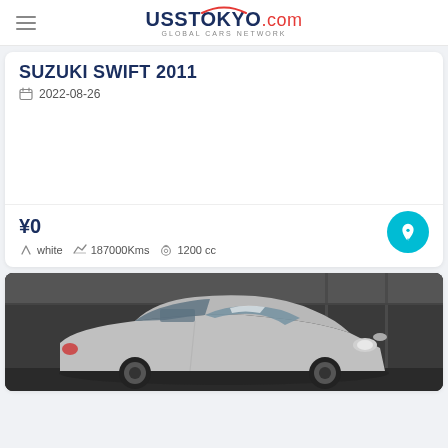USS Tokyo.com — Global Cars Network
SUZUKI SWIFT 2011
2022-08-26
¥0
white  187000Kms  1200 cc
[Figure (photo): Front view of a silver Suzuki Swift 2011 inside a parking/inspection facility with concrete walls]